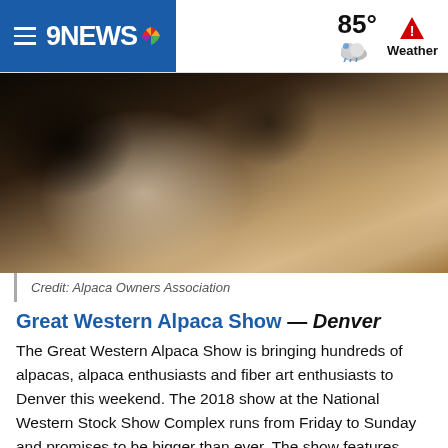9NEWS | 85° Weather
[Figure (photo): Close-up blurred photo of an alpaca, dark and light tones, credit: Alpaca Owners Association]
Credit: Alpaca Owners Association
Great Western Alpaca Show — Denver
The Great Western Alpaca Show is bringing hundreds of alpacas, alpaca enthusiasts and fiber art enthusiasts to Denver this weekend. The 2018 show at the National Western Stock Show Complex runs from Friday to Sunday and promises to be bigger than ever. The show features alpacas in show ring competition, farm displays and vender booths selling the latest in alpaca fashions and hand-crafted